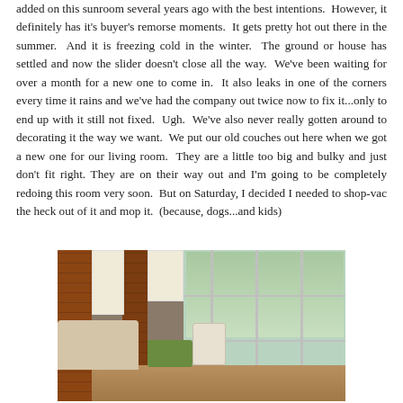added on this sunroom several years ago with the best intentions.  However, it definitely has it's buyer's remorse moments.  It gets pretty hot out there in the summer.  And it is freezing cold in the winter.  The ground or house has settled and now the slider doesn't close all the way.  We've been waiting for over a month for a new one to come in.  It also leaks in one of the corners every time it rains and we've had the company out twice now to fix it...only to end up with it still not fixed.  Ugh.  We've also never really gotten around to decorating it the way we want.  We put our old couches out here when we got a new one for our living room.  They are a little too big and bulky and just don't fit right. They are on their way out and I'm going to be completely redoing this room very soon.  But on Saturday, I decided I needed to shop-vac the heck out of it and mop it.  (because, dogs...and kids)
[Figure (photo): Interior photo of a sunroom with brick walls, large windows looking out to a backyard, a couch with pillows, a green coffee table, a white chair, and wood-look flooring. Roman shades on some windows.]